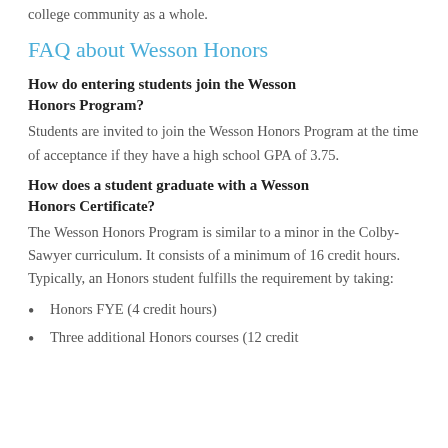college community as a whole.
FAQ about Wesson Honors
How do entering students join the Wesson Honors Program?
Students are invited to join the Wesson Honors Program at the time of acceptance if they have a high school GPA of 3.75.
How does a student graduate with a Wesson Honors Certificate?
The Wesson Honors Program is similar to a minor in the Colby-Sawyer curriculum. It consists of a minimum of 16 credit hours. Typically, an Honors student fulfills the requirement by taking:
Honors FYE (4 credit hours)
Three additional Honors courses (12 credit